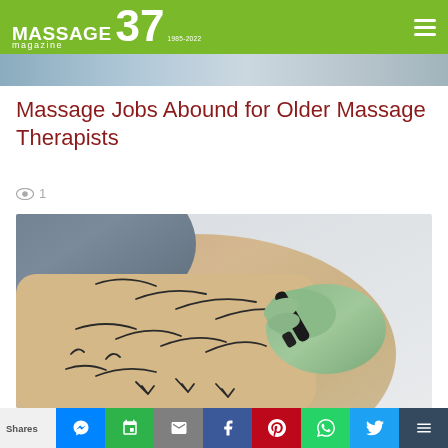MASSAGE magazine 37
[Figure (photo): Partial top strip of a person's shoulder/neck area]
Massage Jobs Abound for Older Massage Therapists
1
[Figure (photo): Medical professional in green latex gloves drawing surgical marks with a black marker on a patient's torso/hip area]
Shares | Messenger | SMS | Email | Facebook | Pinterest | WhatsApp | Twitter | More